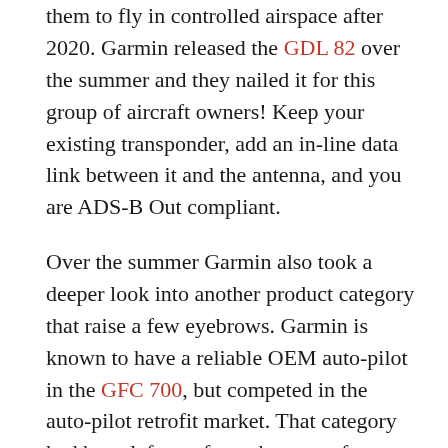them to fly in controlled airspace after 2020. Garmin released the GDL 82 over the summer and they nailed it for this group of aircraft owners! Keep your existing transponder, add an in-line data link between it and the antenna, and you are ADS-B Out compliant.
Over the summer Garmin also took a deeper look into another product category that raise a few eyebrows. Garmin is known to have a reliable OEM auto-pilot in the GFC 700, but competed in the auto-pilot retrofit market. That category had been left to a few other manufacturers who are probably in strategy meetings to assess the damage after Garmin released the GFC 500 and